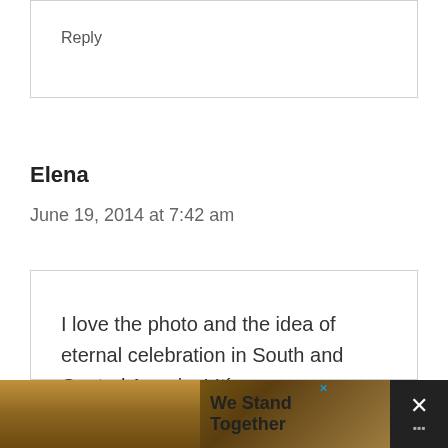Reply
Elena
June 19, 2014 at 7:42 am
I love the photo and the idea of eternal celebration in South and Central America! It´s so
[Figure (photo): Advertisement banner showing group of people seen from behind with arms around each other, text reads 'We Stand Together' with close button]